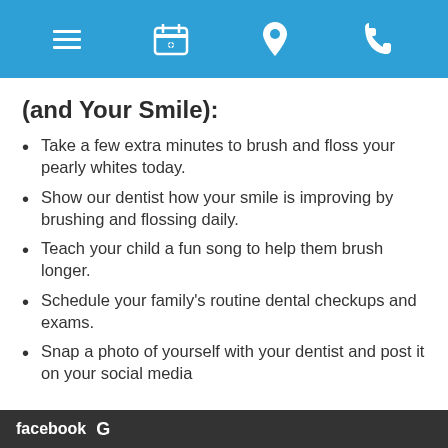[navigation icons: menu, calendar, location, phone]
(and Your Smile):
Take a few extra minutes to brush and floss your pearly whites today.
Show our dentist how your smile is improving by brushing and flossing daily.
Teach your child a fun song to help them brush longer.
Schedule your family's routine dental checkups and exams.
Snap a photo of yourself with your dentist and post it on your social media
facebook G